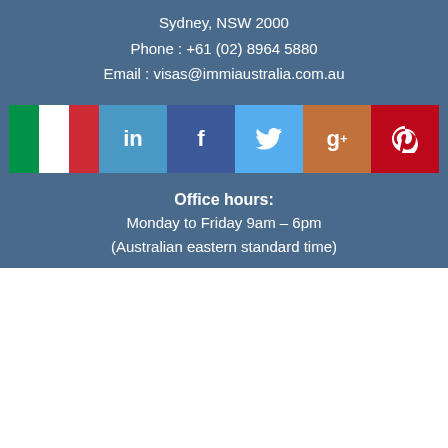Sydney, NSW 2000
Phone : +61 (02) 8964 5880
Email : visas@immiaustralia.com.au
[Figure (infographic): Row of social media icons: Italian flag, LinkedIn, Facebook, Twitter, Google+, Pinterest]
Office hours:
Monday to Friday 9am – 6pm
(Australian eastern standard time)
Employers: Obtain a Free Assessment
A number of visa options exist for employer sponsored visas. You must have an employer to sponsor you.
Read More